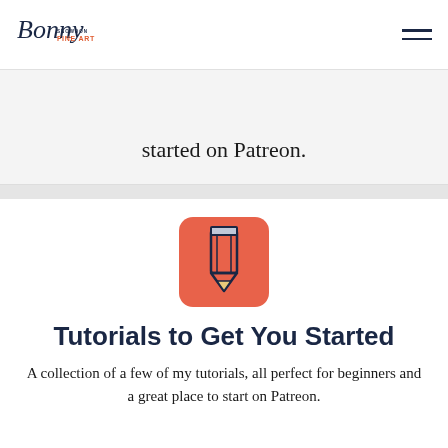Bonny Snowdon Fine Art
started on Patreon.
[Figure (illustration): Orange/salmon rounded-square icon containing a white pencil graphic with dark navy outline]
Tutorials to Get You Started
A collection of a few of my tutorials, all perfect for beginners and a great place to start on Patreon.